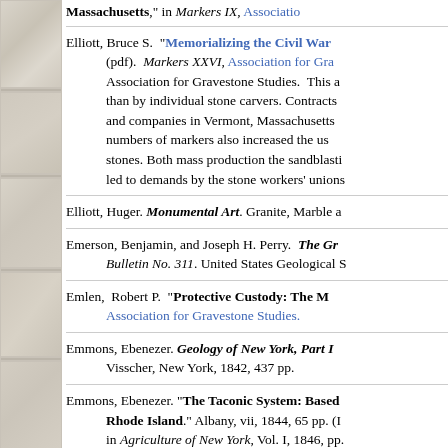[Figure (illustration): Stone tile sidebar with textured stone/granite tile panels in beige and grey tones]
Massachusetts," in Markers IX, Association...
Elliott, Bruce S. "Memorializing the Civil War... (pdf). Markers XXVI, Association for Gra... Association for Gravestone Studies. This a... than by individual stone carvers. Contracts ... and companies in Vermont, Massachusetts... numbers of markers also increased the us... stones. Both mass production the sandblasti... led to demands by the stone workers' unions...
Elliott, Huger. Monumental Art. Granite, Marble a...
Emerson, Benjamin, and Joseph H. Perry. The Gr... Bulletin No. 311. United States Geological S...
Emlen, Robert P. "Protective Custody: The M... Association for Gravestone Studies.
Emmons, Ebenezer. Geology of New York, Part I... Visscher, New York, 1842, 437 pp.
Emmons, Ebenezer. "The Taconic System: Based... Rhode Island." Albany, vii, 1844, 65 pp. (... in Agriculture of New york, Vol. I, 1846, pp....